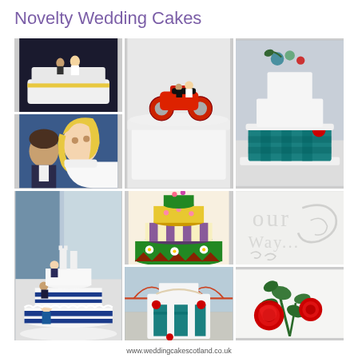Novelty Wedding Cakes
[Figure (photo): Wedding cake topper with bride and groom figurines on a white cake]
[Figure (photo): White wedding cake with a red motorcycle topper and bride and groom figurines]
[Figure (photo): Three-tier white and teal tartan wedding cake with red roses]
[Figure (photo): Caricature bride and groom fondant cake toppers with blonde hair]
[Figure (photo): Colorful multi-tier novelty wedding cake with green, yellow, and striped layers with daisy decorations]
[Figure (photo): Large multi-tier white wedding cake with blue ribbon and novelty figurines of bride and groom]
[Figure (photo): Mr & Mrs sign on a wedding cake board]
[Figure (photo): White embossed wedding cake detail with decorative script]
[Figure (photo): Square-tiered white wedding cake with teal tartan panels and red roses, Forth Rail Bridge in background]
[Figure (photo): Red roses and ivy sugar flower decoration on white fondant]
www.weddingcakescotland.co.uk